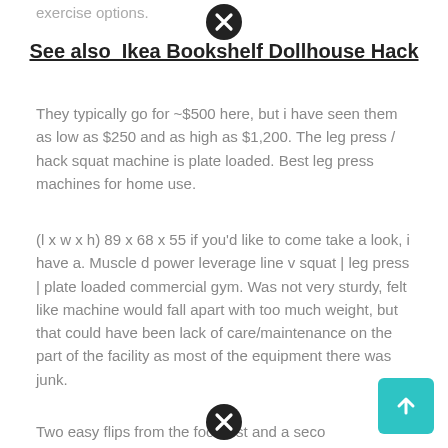exercise options.
See also  Ikea Bookshelf Dollhouse Hack
They typically go for ~$500 here, but i have seen them as low as $250 and as high as $1,200. The leg press / hack squat machine is plate loaded. Best leg press machines for home use.
(l x w x h) 89 x 68 x 55 if you'd like to come take a look, i have a. Muscle d power leverage line v squat | leg press | plate loaded commercial gym. Was not very sturdy, felt like machine would fall apart with too much weight, but that could have been lack of care/maintenance on the part of the facility as most of the equipment there was junk.
Two easy flips from the foot rest and a seco